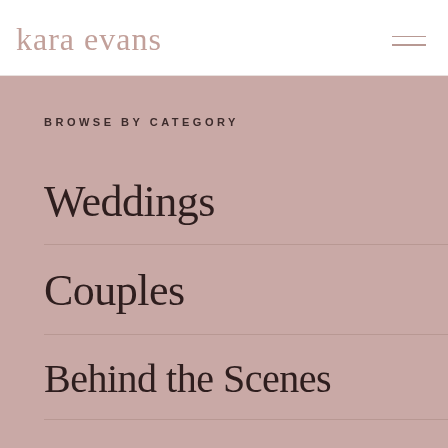kara evans
BROWSE BY CATEGORY
Weddings
Couples
Behind the Scenes
For Creatives